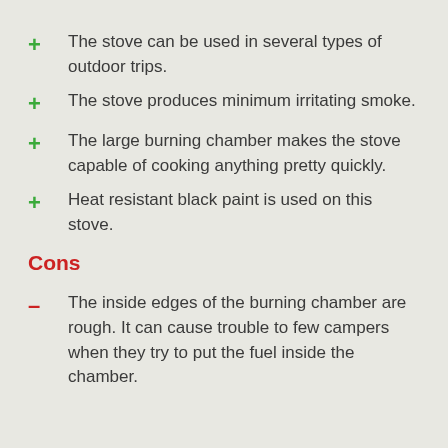The stove can be used in several types of outdoor trips.
The stove produces minimum irritating smoke.
The large burning chamber makes the stove capable of cooking anything pretty quickly.
Heat resistant black paint is used on this stove.
Cons
The inside edges of the burning chamber are rough. It can cause trouble to few campers when they try to put the fuel inside the chamber.